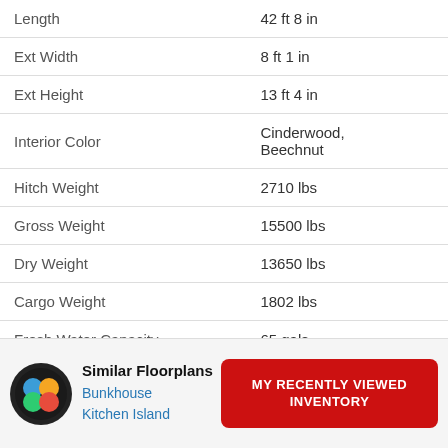| Specification | Value |
| --- | --- |
| Length | 42 ft 8 in |
| Ext Width | 8 ft 1 in |
| Ext Height | 13 ft 4 in |
| Interior Color | Cinderwood, Beechnut |
| Hitch Weight | 2710 lbs |
| Gross Weight | 15500 lbs |
| Dry Weight | 13650 lbs |
| Cargo Weight | 1802 lbs |
| Fresh Water Capacity | 65 gals |
| Grey Water Capacity | 45 gals |
| Black Water Capacity | 90 gals |
| Tire Size | 16" |
Similar Floorplans
Bunkhouse
Kitchen Island
MY RECENTLY VIEWED INVENTORY